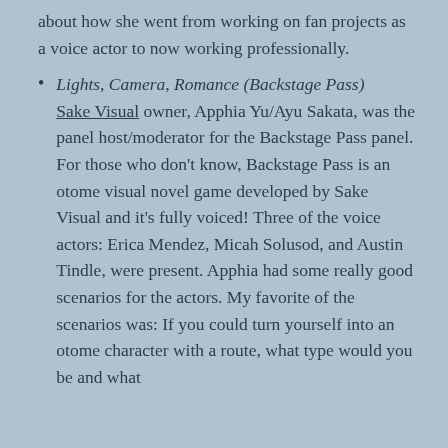about how she went from working on fan projects as a voice actor to now working professionally.
Lights, Camera, Romance (Backstage Pass) Sake Visual owner, Apphia Yu/Ayu Sakata, was the panel host/moderator for the Backstage Pass panel. For those who don't know, Backstage Pass is an otome visual novel game developed by Sake Visual and it's fully voiced! Three of the voice actors: Erica Mendez, Micah Solusod, and Austin Tindle, were present. Apphia had some really good scenarios for the actors. My favorite of the scenarios was: If you could turn yourself into an otome character with a route, what type would you be and what